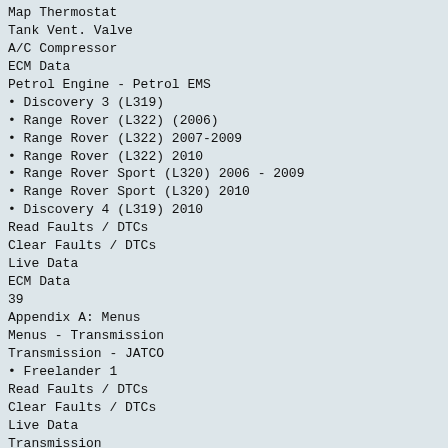Map Thermostat
Tank Vent. Valve
A/C Compressor
ECM Data
Petrol Engine - Petrol EMS
• Discovery 3 (L319)
• Range Rover (L322) (2006)
• Range Rover (L322) 2007-2009
• Range Rover (L322) 2010
• Range Rover Sport (L320) 2006 - 2009
• Range Rover Sport (L320) 2010
• Discovery 4 (L319) 2010
Read Faults / DTCs
Clear Faults / DTCs
Live Data
ECM Data
39
Appendix A: Menus
Menus - Transmission
Transmission - JATCO
• Freelander 1
Read Faults / DTCs
Clear Faults / DTCs
Live Data
Transmission
• Freelander 2 (L359)
Read Faults / DTCs
Clear Faults / DTCs
Live Data
ECM Data
Transmission - GS 8.87.0/1
• Discovery II
• Range Rover (P38a)